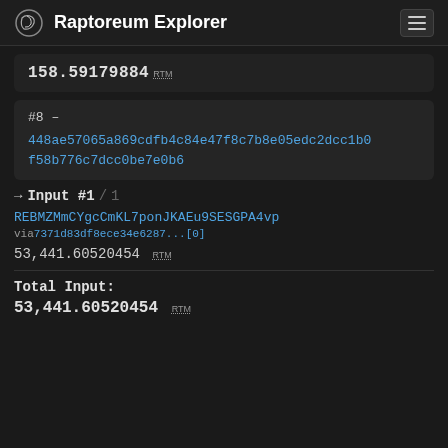Raptoreum Explorer
158.59179884 RTM
#8 – 448ae57065a869cdfb4c84e47f8c7b8e05edc2dcc1b0f58b776c7dcc0be7e0b6
➔ Input #1 / 1
REBMZMmCYgcCmKL7ponJKAEu9SESGPA4vp
via 7371d83df8ece34e6287...[0]
53,441.60520454 RTM
Total Input: 53,441.60520454 RTM